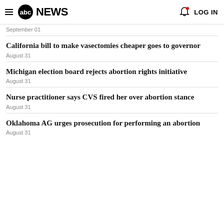abc NEWS  LOG IN
September 01
California bill to make vasectomies cheaper goes to governor
August 31
Michigan election board rejects abortion rights initiative
August 31
Nurse practitioner says CVS fired her over abortion stance
August 31
Oklahoma AG urges prosecution for performing an abortion
August 31